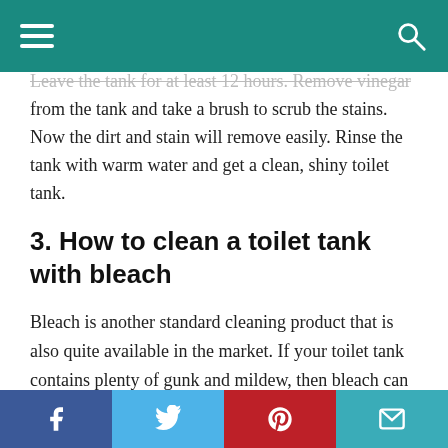[navigation bar with hamburger menu and search icon]
Leave the tank for at least 12 hours. Remove vinegar from the tank and take a brush to scrub the stains. Now the dirt and stain will remove easily. Rinse the tank with warm water and get a clean, shiny toilet tank.
3. How to clean a toilet tank with bleach
Bleach is another standard cleaning product that is also quite available in the market. If your toilet tank contains plenty of gunk and mildew, then bleach can be an easy solution for cleaning.
Social share bar: Facebook, Twitter, Pinterest, Email